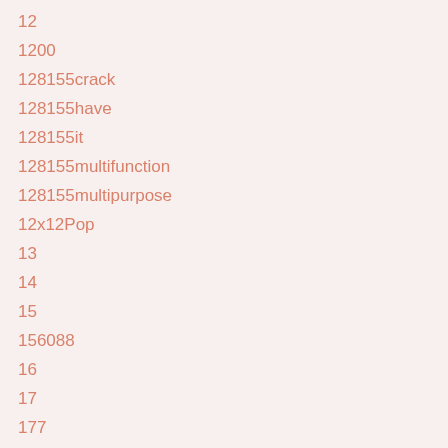12
1200
128155crack
128155have
128155it
128155multifunction
128155multipurpose
12x12Pop
13
14
15
156088
16
17
177